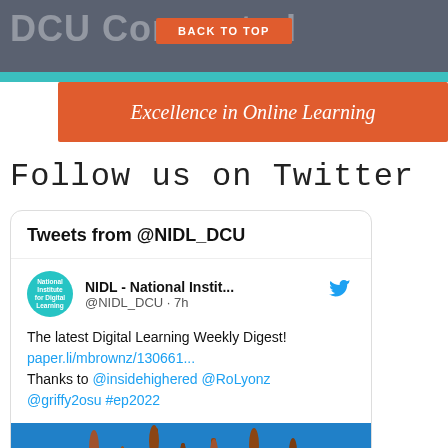DCU Connected
BACK TO TOP
Excellence in Online Learning
Follow us on Twitter
Tweets from @NIDL_DCU
NIDL - National Instit... @NIDL_DCU · 7h
The latest Digital Learning Weekly Digest! paper.li/mbrownz/130661... Thanks to @insidehighered @RoLyonz @griffy2osu #ep2022
[Figure (photo): Photo of reeds or industrial chimneys against a blue sky background]